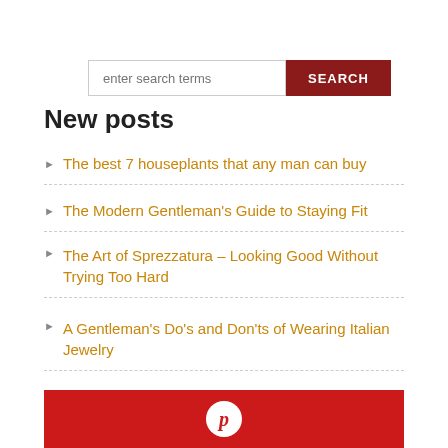enter search terms  SEARCH
New posts
The best 7 houseplants that any man can buy
The Modern Gentleman's Guide to Staying Fit
The Art of Sprezzatura – Looking Good Without Trying Too Hard
A Gentleman's Do's and Don'ts of Wearing Italian Jewelry
The Best Cities in Europe for a Wild Bachelor Party
[Figure (logo): Red banner with Pinterest logo circle]